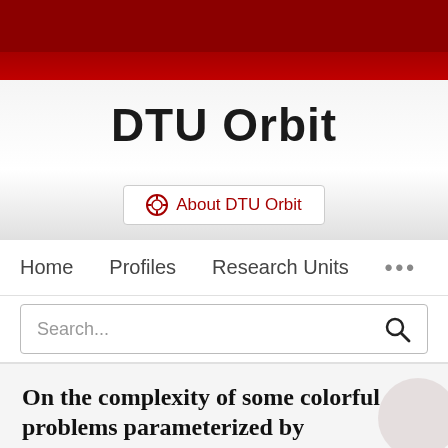[Figure (logo): DTU Orbit logo with dark red header banner and gradient background]
DTU Orbit
About DTU Orbit
Home   Profiles   Research Units   ...
Search...
On the complexity of some colorful problems parameterized by